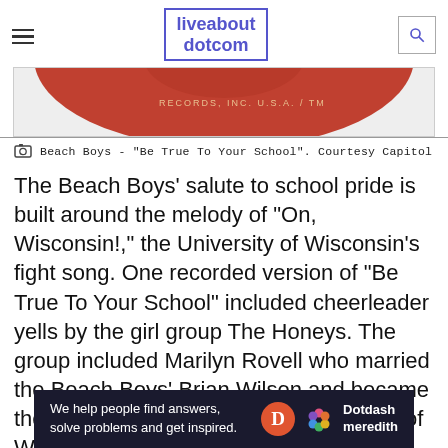liveabout dotcom
[Figure (photo): Partial view of a red vinyl record label for Beach Boys, Capitol Records]
Beach Boys - "Be True To Your School". Courtesy Capitol
The Beach Boys' salute to school pride is built around the melody of "On, Wisconsin!," the University of Wisconsin's fight song. One recorded version of "Be True To Your School" included cheerleader yells by the girl group The Honeys. The group included Marilyn Rovell who married the Beach Boys' Brian Wilson and became the mother of Carnie and Wendy Wison of Wilson Phillips. The Honeys also sang back up for surf pop duo Jan and
[Figure (other): Dotdash Meredith advertisement banner: We help people find answers, solve problems and get inspired.]